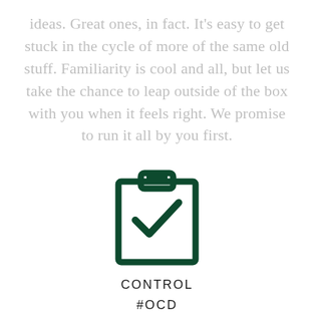ideas. Great ones, in fact. It's easy to get stuck in the cycle of more of the same old stuff. Familiarity is cool and all, but let us take the chance to leap outside of the box with you when it feels right. We promise to run it all by you first.
[Figure (illustration): Dark green clipboard icon with a checkmark inside]
CONTROL
#OCD
Control of the message you're sending is crucial. That's why